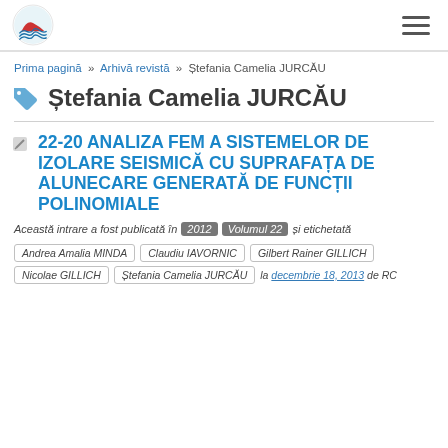[logo] [hamburger menu]
Prima pagină » Arhivă revistă » Ștefania Camelia JURCĂU
Ștefania Camelia JURCĂU
22-20 ANALIZA FEM A SISTEMELOR DE IZOLARE SEISMICĂ CU SUPRAFAȚA DE ALUNECARE GENERATĂ DE FUNCȚII POLINOMIALE
Această intrare a fost publicată în 2012 Volumul 22 și etichetată
Andrea Amalia MINDA
Claudiu IAVORNIC
Gilbert Rainer GILLICH
Nicolae GILLICH
Ștefania Camelia JURCĂU
la decembrie 18, 2013 de RC